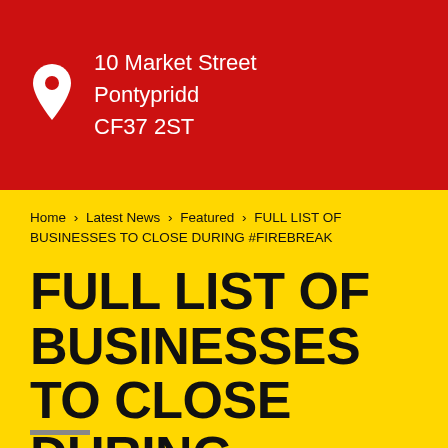10 Market Street
Pontypridd
CF37 2ST
Home › Latest News › Featured › FULL LIST OF BUSINESSES TO CLOSE DURING #FIREBREAK
FULL LIST OF BUSINESSES TO CLOSE DURING #FIREBREAK